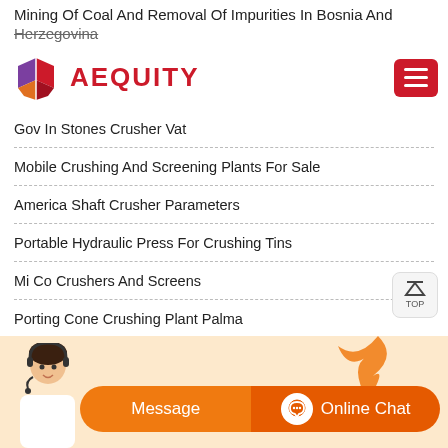Mining Of Coal And Removal Of Impurities In Bosnia And Herzegovina
[Figure (logo): Aequity logo with geometric diamond shape in purple, red, orange colors, and red AEQUITY text]
Gov In Stones Crusher Vat
Mobile Crushing And Screening Plants For Sale
America Shaft Crusher Parameters
Portable Hydraulic Press For Crushing Tins
Mi Co Crushers And Screens
Porting Cone Crushing Plant Palma
[Figure (infographic): Chat bar with orange background, customer service person image, Message button and Online Chat button with chat icon]